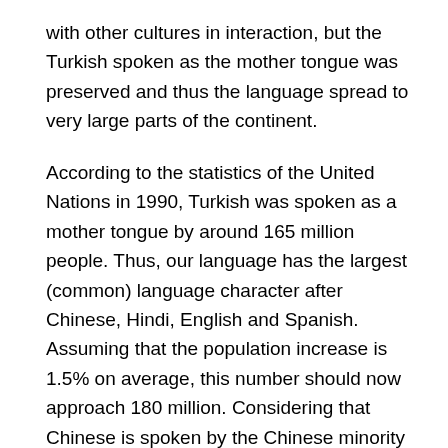with other cultures in interaction, but the Turkish spoken as the mother tongue was preserved and thus the language spread to very large parts of the continent.
According to the statistics of the United Nations in 1990, Turkish was spoken as a mother tongue by around 165 million people. Thus, our language has the largest (common) language character after Chinese, Hindi, English and Spanish. Assuming that the population increase is 1.5% on average, this number should now approach 180 million. Considering that Chinese is spoken by the Chinese minority in Southeast Asian countries excluding China and Taiwan, and Hindi is only spread in the Indian Subcontinent, it is among the languages spread over a wide geography in the world such as Turkish, Spanish and English. Of these, English is spoken as a mother tongue outside Great Britain, in the continent of North America, in the Republic of South Africa (by British